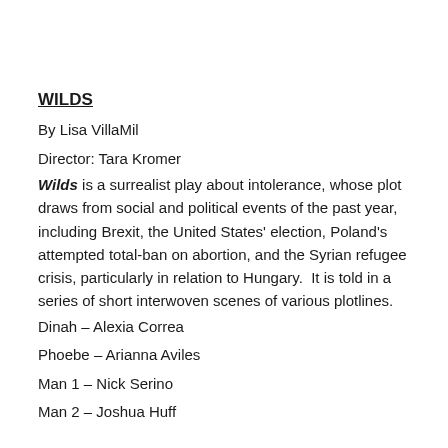WILDS
By Lisa VillaMil
Director: Tara Kromer
Wilds is a surrealist play about intolerance, whose plot draws from social and political events of the past year, including Brexit, the United States' election, Poland's attempted total-ban on abortion, and the Syrian refugee crisis, particularly in relation to Hungary.  It is told in a series of short interwoven scenes of various plotlines.
Dinah – Alexia Correa
Phoebe – Arianna Aviles
Man 1 – Nick Serino
Man 2 – Joshua Huff